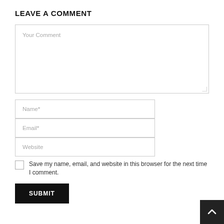LEAVE A COMMENT
[Figure (screenshot): Comment form with a large textarea labeled 'Your Comment', input fields for Name*, Email*, Website, a checkbox for saving browser info, and a Submit button]
Save my name, email, and website in this browser for the next time I comment.